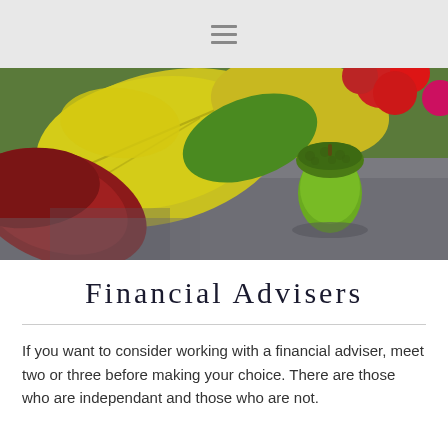[Figure (photo): Close-up photo of autumn leaves (yellow, red, green) on a grey textured surface with a green acorn in the foreground and red flowers in the background]
Financial Advisers
If you want to consider working with a financial adviser, meet two or three before making your choice. There are those who are independant and those who are not.